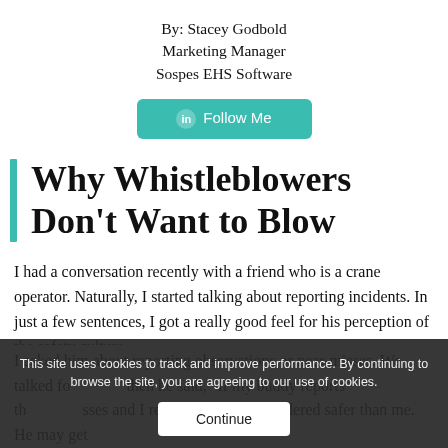By: Stacey Godbold
Marketing Manager
Sospes EHS Software
[Figure (other): Teal 'Follow Me' button with LinkedIn icon]
Why Whistleblowers Don't Want to Blow
I had a conversation recently with a friend who is a crane operator. Naturally, I started talking about reporting incidents. In just a few sentences, I got a really good feel for his perception of the safety culture.
I asked him about reporting observations or near-misses. We talked for a bit, then he said, "If my buddy reports three near-misses and I report six, he is considered safer than me. He may get
This site uses cookies to track and improve performance. By continuing to browse the site, you are agreeing to our use of cookies.